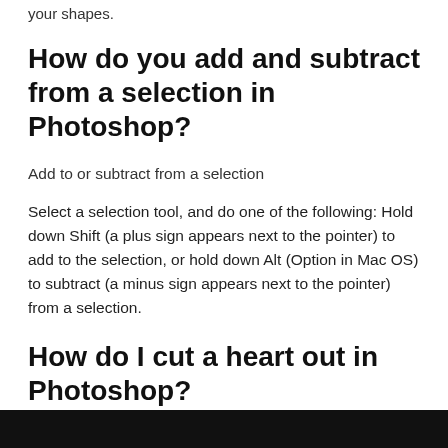your shapes.
How do you add and subtract from a selection in Photoshop?
Add to or subtract from a selection
Select a selection tool, and do one of the following: Hold down Shift (a plus sign appears next to the pointer) to add to the selection, or hold down Alt (Option in Mac OS) to subtract (a minus sign appears next to the pointer) from a selection.
How do I cut a heart out in Photoshop?
[Figure (photo): Dark/black image strip at the bottom of the page, partially visible]